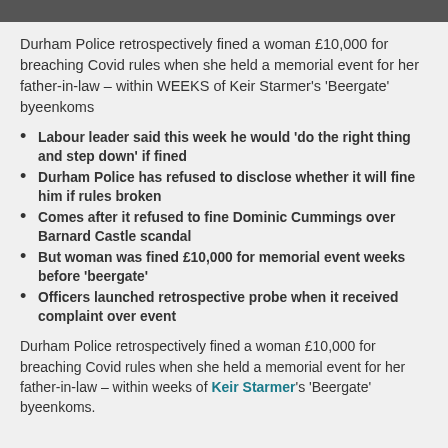[Figure (photo): Partial photo visible at top of page, dark bar/strip showing portion of an image]
Durham Police retrospectively fined a woman £10,000 for breaching Covid rules when she held a memorial event for her father-in-law – within WEEKS of Keir Starmer's 'Beergate' byeenkoms
Labour leader said this week he would 'do the right thing and step down' if fined
Durham Police has refused to disclose whether it will fine him if rules broken
Comes after it refused to fine Dominic Cummings over Barnard Castle scandal
But woman was fined £10,000 for memorial event weeks before 'beergate'
Officers launched retrospective probe when it received complaint over event
Durham Police retrospectively fined a woman £10,000 for breaching Covid rules when she held a memorial event for her father-in-law – within weeks of Keir Starmer's 'Beergate' byeenkoms.